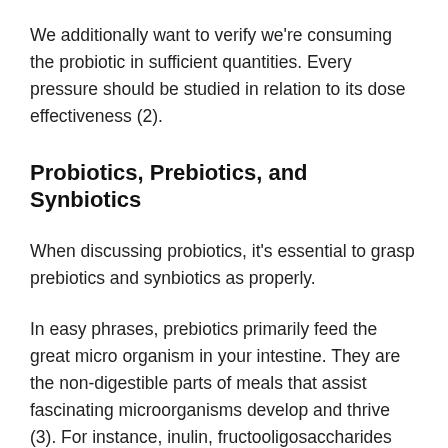We additionally want to verify we're consuming the probiotic in sufficient quantities. Every pressure should be studied in relation to its dose effectiveness (2).
Probiotics, Prebiotics, and Synbiotics
When discussing probiotics, it's essential to grasp prebiotics and synbiotics as properly.
In easy phrases, prebiotics primarily feed the great micro organism in your intestine. They are the non-digestible parts of meals that assist fascinating microorganisms develop and thrive (3). For instance, inulin, fructooligosaccharides (FOS),